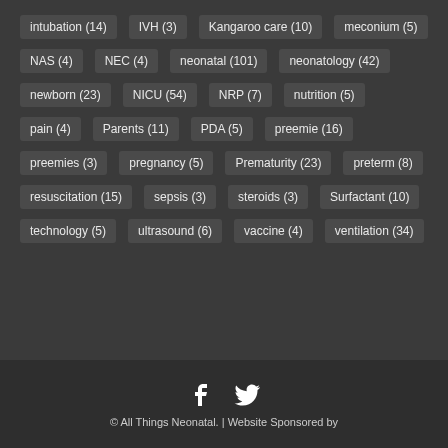intubation (14)
IVH (3)
Kangaroo care (10)
meconium (5)
NAS (4)
NEC (4)
neonatal (101)
neonatology (42)
newborn (23)
NICU (54)
NRP (7)
nutrition (5)
pain (4)
Parents (11)
PDA (5)
preemie (16)
preemies (3)
pregnancy (5)
Prematurity (23)
preterm (8)
resuscitation (15)
sepsis (3)
steroids (3)
Surfactant (10)
technology (5)
ultrasound (6)
vaccine (4)
ventilation (34)
© All Things Neonatal. | Website Sponsored by